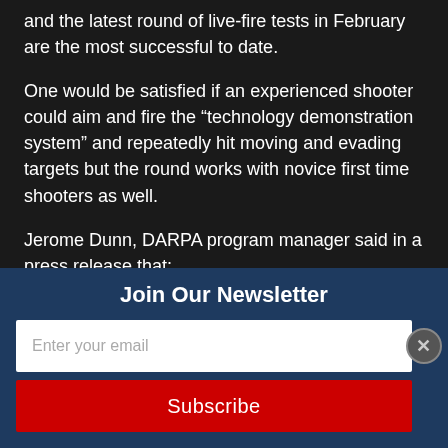and the latest round of live-fire tests in February are the most successful to date.
One would be satisfied if an experienced shooter could aim and fire the “technology demonstration system” and repeatedly hit moving and evading targets but the round works with novice first time shooters as well.
Jerome Dunn, DARPA program manager said in a press release that:
“Together, DARPA has developed EXACTO b…
Join Our Newsletter
Enter your email
Subscribe